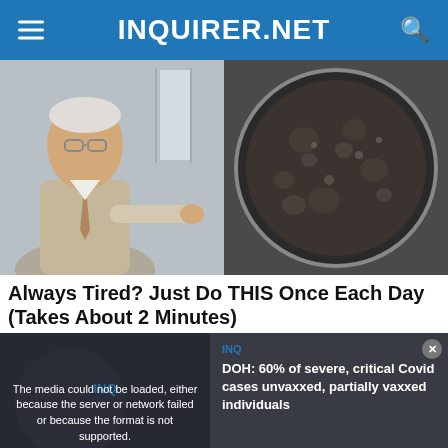INQUIRER.NET
[Figure (photo): Two-panel image: left side shows an older man in a suit and glasses pointing at something; right side shows a dark pan with bubbling contents.]
Always Tired? Just Do THIS Once Each Day (Takes About 2 Minutes)
[Figure (screenshot): Video overlay with error message: 'The media could not be loaded, either because the server or network failed or because the format is not supported.' Right side shows news caption: 'DOH: 60% of severe, critical Covid cases unvaxxed, partially vaxxed individuals'. Bottom left thumbnail shows text: 'DOH: 60% OF SEVERE, CRITICAL COVID CASES UNVAXXED, PARTIALLY VAXXED INDIVIDUALS']
DOH: 60% of severe, critical Covid cases unvaxxed, partially vaxxed individuals